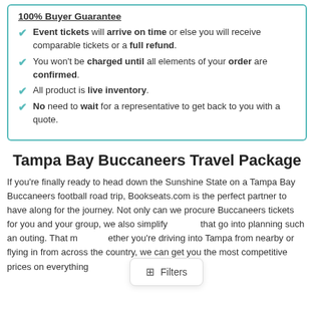Event tickets will arrive on time or else you will receive comparable tickets or a full refund.
You won't be charged until all elements of your order are confirmed.
All product is live inventory.
No need to wait for a representative to get back to you with a quote.
Tampa Bay Buccaneers Travel Package
If you're finally ready to head down the Sunshine State on a Tampa Bay Buccaneers football road trip, Bookseats.com is the perfect partner to have along for the journey. Not only can we procure Buccaneers tickets for you and your group, we also simplify that go into planning such an outing. That m ether you're driving into Tampa from nearby or flying in from across the country, we can get you the most competitive prices on everything